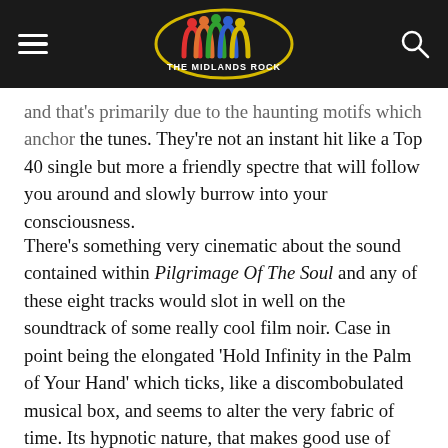THE MIDLANDS ROCK (logo)
and that's primarily due to the haunting motifs which anchor the tunes. They're not an instant hit like a Top 40 single but more a friendly spectre that will follow you around and slowly burrow into your consciousness.
There's something very cinematic about the sound contained within Pilgrimage Of The Soul and any of these eight tracks would slot in well on the soundtrack of some really cool film noir. Case in point being the elongated 'Hold Infinity in the Palm of Your Hand' which ticks, like a discombobulated musical box, and seems to alter the very fabric of time. Its hypnotic nature, that makes good use of crescendos and diminuendos, means its twelve-and-a-half minute's passes in the blink of an eye. If you've listened to this album from start to finish by the time you get to closer 'And Eternity in an Hour' it's quite likely you'll be feeling emotionally drained. The